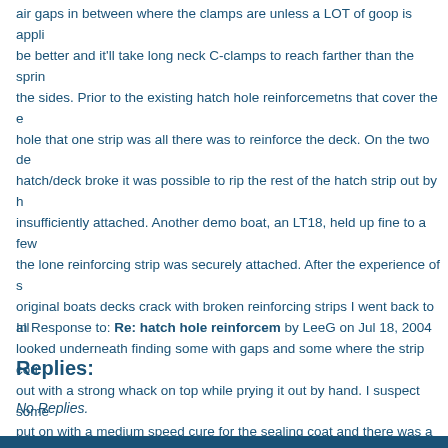air gaps in between where the clamps are unless a LOT of goop is applied, be better and it'll take long neck C-clamps to reach farther than the spring the sides. Prior to the existing hatch hole reinforcemetns that cover the e hole that one strip was all there was to reinforce the deck. On the two de hatch/deck broke it was possible to rip the rest of the hatch strip out by h insufficiently attached. Another demo boat, an LT18, held up fine to a few the lone reinforcing strip was securely attached. After the experience of s original boats decks crack with broken reinforcing strips I went back to all looked underneath finding some with gaps and some where the strip cou out with a strong whack on top while prying it out by hand. I suspect some put on with a medium speed cure for the sealing coat and there was a sli when hatch reinforcement strips were put on there must have been som preventing a bond because the strip popped out with thick epoxy on it wi the wood grain on the underside where it came out. So even if you're usi it's worth sanding that area being glued. If medium cure epoxy is used to underside then wiping the area with a wet rag prior to sanding is necessa underside will be long cured by the time you get around to cutting hatche
In Response to: Re: hatch hole reinforcem by LeeG on Jul 18, 2004
Replies:
No Replies.